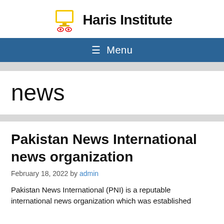Haris Institute
≡ Menu
news
Pakistan News International news organization
February 18, 2022 by admin
Pakistan News International (PNI) is a reputable international news organization which was established